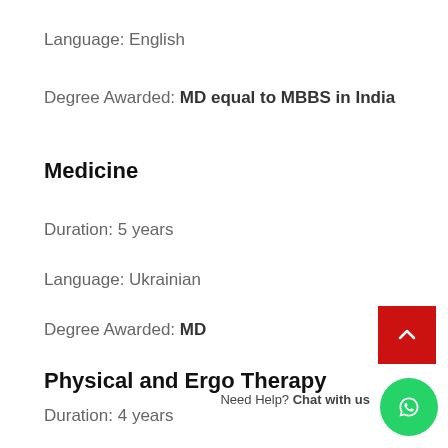Language: English
Degree Awarded: MD equal to MBBS in India
Medicine
Duration: 5 years
Language: Ukrainian
Degree Awarded: MD
Physical and Ergo Therapy
Duration: 4 years
Need Help? Chat with us
Language: English/Ukrainian